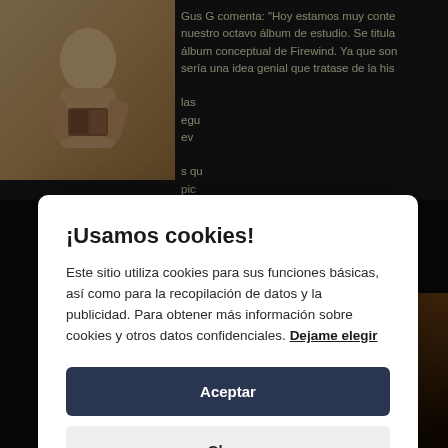[Figure (photo): Baby or child sitting, photographed in warm tones, album cover style]
Gus G comenta: "Hoy estamos muy conte nuestro octavo álbum de estudio. Se titula álbum conceptual de Firewind. Ya que son sería una idea genial que tratase de la his
¡Usamos cookies!
Este sitio utiliza cookies para sus funciones básicas, así como para la recopilación de datos y la publicidad. Para obtener más información sobre cookies y otros datos confidenciales. Dejame elegir
Aceptar
Close
[Figure (photo): Dark image with brown/orange tones, possibly an album cover or band photo with a logo visible at bottom]